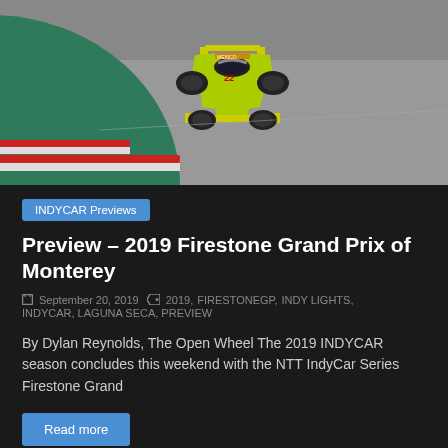[Figure (photo): Yellow IndyCar racing car on a track with a teal/green curb visible at the left side of the frame. The car bears number 22 and is photographed from a front-overhead angle on a grey asphalt track.]
INDYCAR Previews
Preview – 2019 Firestone Grand Prix of Monterey
September 20, 2019   2019, FIRESTONEGP, INDY LIGHTS, INDYCAR, LAGUNA SECA, PREVIEW
By Dylan Reynolds, The Open Wheel The 2019 INDYCAR season concludes this weekend with the NTT IndyCar Series Firestone Grand
Read more